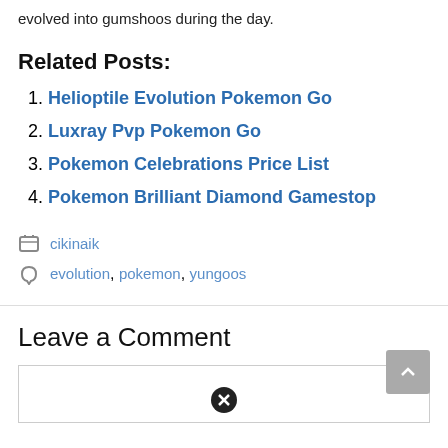evolved into gumshoos during the day.
Related Posts:
Helioptile Evolution Pokemon Go
Luxray Pvp Pokemon Go
Pokemon Celebrations Price List
Pokemon Brilliant Diamond Gamestop
cikinaik
evolution, pokemon, yungoos
Leave a Comment